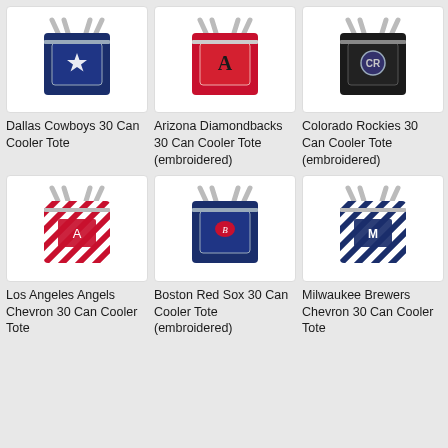[Figure (photo): Dallas Cowboys 30 Can Cooler Tote - navy blue tote bag with star logo and gray handles]
Dallas Cowboys 30 Can Cooler Tote
[Figure (photo): Arizona Diamondbacks 30 Can Cooler Tote (embroidered) - red tote bag with D logo and gray handles]
Arizona Diamondbacks 30 Can Cooler Tote (embroidered)
[Figure (photo): Colorado Rockies 30 Can Cooler Tote (embroidered) - black tote bag with Rockies logo and gray handles]
Colorado Rockies 30 Can Cooler Tote (embroidered)
[Figure (photo): Los Angeles Angels Chevron 30 Can Cooler Tote - red and white chevron pattern tote bag with Angels logo]
Los Angeles Angels Chevron 30 Can Cooler Tote
[Figure (photo): Boston Red Sox 30 Can Cooler Tote (embroidered) - navy blue tote bag with Red Sox logo and gray handles]
Boston Red Sox 30 Can Cooler Tote (embroidered)
[Figure (photo): Milwaukee Brewers Chevron 30 Can Cooler Tote - navy and white chevron pattern tote bag with Brewers logo]
Milwaukee Brewers Chevron 30 Can Cooler Tote